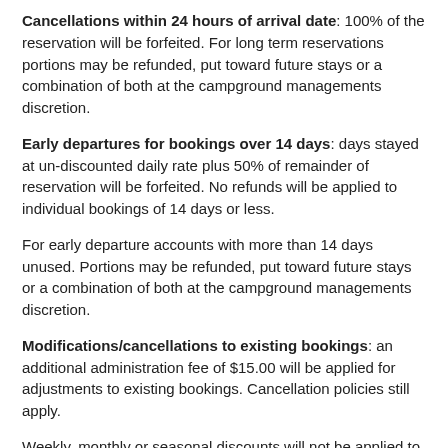Cancellations within 24 hours of arrival date: 100% of the reservation will be forfeited. For long term reservations portions may be refunded, put toward future stays or a combination of both at the campground managements discretion.
Early departures for bookings over 14 days: days stayed at un-discounted daily rate plus 50% of remainder of reservation will be forfeited. No refunds will be applied to individual bookings of 14 days or less.
For early departure accounts with more than 14 days unused. Portions may be refunded, put toward future stays or a combination of both at the campground managements discretion.
Modifications/cancellations to existing bookings: an additional administration fee of $15.00 will be applied for adjustments to existing bookings. Cancellation policies still apply.
Weekly, monthly or seasonal discounts will not be applied to reservations that are cancelled.